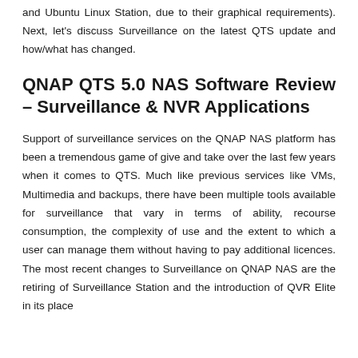and Ubuntu Linux Station, due to their graphical requirements). Next, let's discuss Surveillance on the latest QTS update and how/what has changed.
QNAP QTS 5.0 NAS Software Review – Surveillance & NVR Applications
Support of surveillance services on the QNAP NAS platform has been a tremendous game of give and take over the last few years when it comes to QTS. Much like previous services like VMs, Multimedia and backups, there have been multiple tools available for surveillance that vary in terms of ability, recourse consumption, the complexity of use and the extent to which a user can manage them without having to pay additional licences. The most recent changes to Surveillance on QNAP NAS are the retiring of Surveillance Station and the introduction of QVR Elite in its place